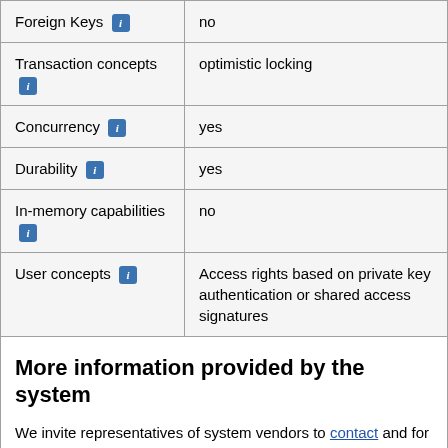| Feature | Value |
| --- | --- |
| Foreign Keys [i] | no |
| Transaction concepts [i] | optimistic locking |
| Concurrency [i] | yes |
| Durability [i] | yes |
| In-memory capabilities [i] | no |
| User concepts [i] | Access rights based on private key authentication or shared access signatures |
More information provided by the system
We invite representatives of system vendors to contact and for displaying vendor-provided information such as